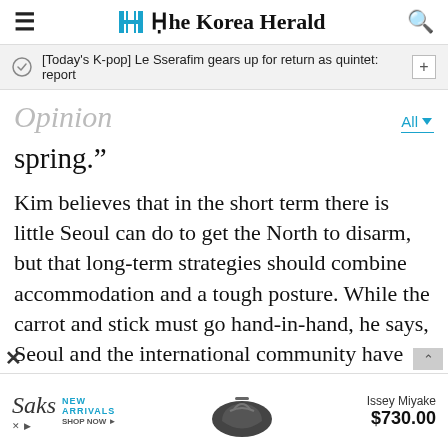The Korea Herald
[Today's K-pop] Le Sserafim gears up for return as quintet: report
Opinion
spring.”
Kim believes that in the short term there is little Seoul can do to get the North to disarm, but that long-term strategies should combine accommodation and a tough posture. While the carrot and stick must go hand-in-hand, he says, Seoul and the international community have tended to rely too much or one or th
[Figure (other): Saks advertisement: Saks logo with 'NEW ARRIVALS SHOP NOW', an Issey Miyake handbag, and price $730.00]